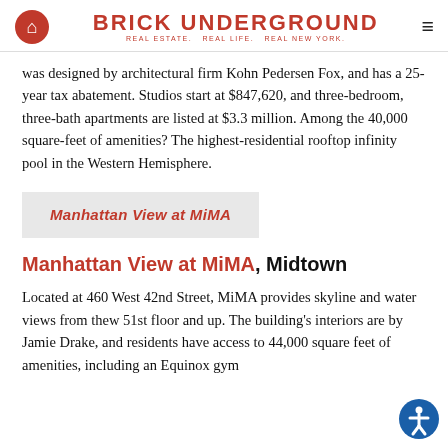BRICK UNDERGROUND — REAL ESTATE. REAL LIFE. REAL NEW YORK.
was designed by architectural firm Kohn Pedersen Fox, and has a 25-year tax abatement. Studios start at $847,620, and three-bedroom, three-bath apartments are listed at $3.3 million. Among the 40,000 square-feet of amenities? The highest-residential rooftop infinity pool in the Western Hemisphere.
Manhattan View at MiMA
Manhattan View at MiMA, Midtown
Located at 460 West 42nd Street, MiMA provides skyline and water views from thew 51st floor and up. The building's interiors are by Jamie Drake, and residents have access to 44,000 square feet of amenities, including an Equinox gym